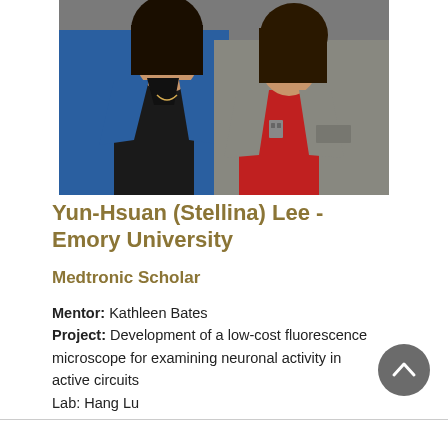[Figure (photo): Two women standing side by side. The woman on the left wears a blue blazer over a black shirt. The woman on the right wears a gray blazer over a red top. Indoor setting with gray wall background.]
Yun-Hsuan (Stellina) Lee - Emory University
Medtronic Scholar
Mentor: Kathleen Bates
Project: Development of a low-cost fluorescence microscope for examining neuronal activity in active circuits
Lab: Hang Lu